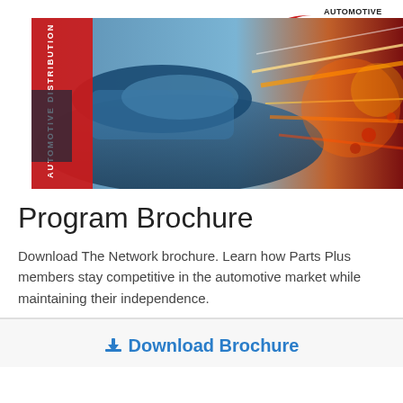[Figure (illustration): Automotive Distribution Network branded banner image showing a blue car with motion blur and red/orange light streaks on the right, with a vertical red banner on the left reading 'AUTOMOTIVE DISTRIBUTION NETWORK' vertically, and the Automotive Distribution Network logo (red swoosh with text) in the upper right corner.]
Program Brochure
Download The Network brochure. Learn how Parts Plus members stay competitive in the automotive market while maintaining their independence.
Download Brochure